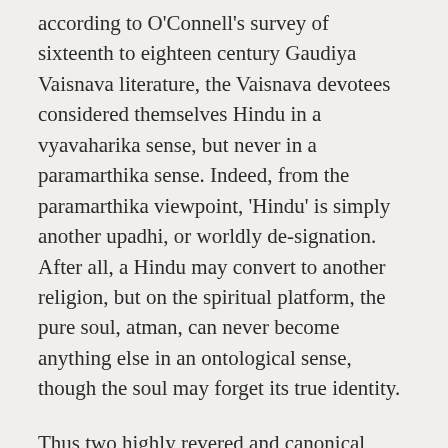according to O'Connell's survey of sixteenth to eighteen century Gaudiya Vaisnava literature, the Vaisnava devotees considered themselves Hindu in a vyavaharika sense, but never in a paramarthika sense. Indeed, from the paramarthika viewpoint, 'Hindu' is simply another upadhi, or worldly de-signation. After all, a Hindu may convert to another religion, but on the spiritual platform, the pure soul, atman, can never become anything else in an ontological sense, though the soul may forget its true identity.
Thus two highly revered and canonical works of the Gaudiya Vaisnavas — Rupa Gosvami's Bhakti-rasamrta-sindhu (1.1.12) and Krsndasa Kaviraja's Sri Caitanya-caritamrta (2.19.170) — cite the following verse from the Narada-pancaratra(7) :
'Bhakti (devotion) is said to be service, with the